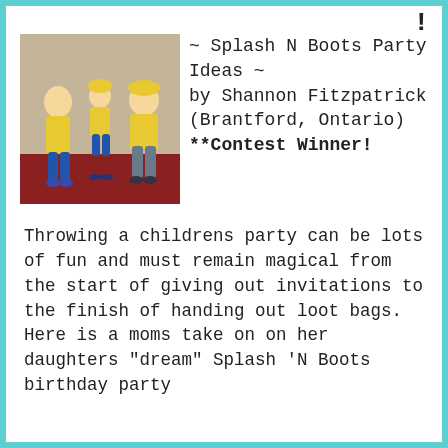[Figure (photo): A family photo showing a woman, a young child, and a man posing together, all wearing yellow shirts and blue pants/jeans, on what appears to be a red carpet or floor.]
~ Splash N Boots Party Ideas ~
by Shannon Fitzpatrick (Brantford, Ontario) **Contest Winner!
Throwing a childrens party can be lots of fun and must remain magical from the start of giving out invitations to the finish of handing out loot bags. Here is a moms take on on her daughters "dream" Splash 'N Boots birthday party